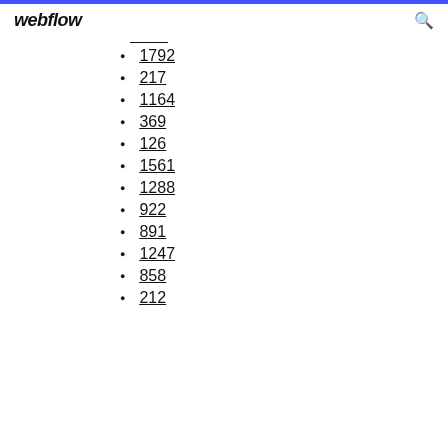webflow
1792
217
1164
369
126
1561
1288
922
891
1247
858
212